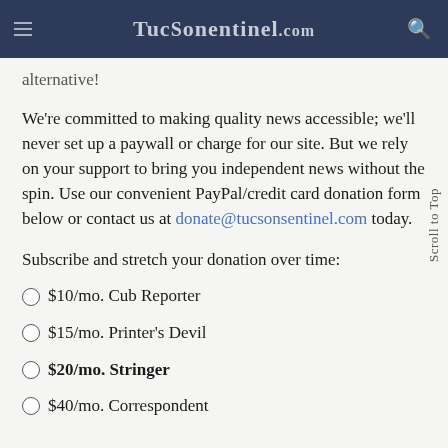TucsonSentinel.com
...alternative!
We're committed to making quality news accessible; we'll never set up a paywall or charge for our site. But we rely on your support to bring you independent news without the spin. Use our convenient PayPal/credit card donation form below or contact us at donate@tucsonsentinel.com today.
Subscribe and stretch your donation over time:
$10/mo. Cub Reporter
$15/mo. Printer's Devil
$20/mo. Stringer
$40/mo. Correspondent